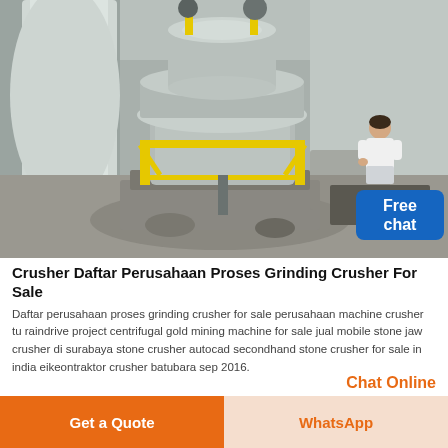[Figure (photo): Industrial grinding mill machine photographed from above inside a large factory/plant building. The machine is a large vertical roller mill or similar grinding equipment, painted light gray with yellow safety railings. The facility has a concrete floor and large open interior space.]
Crusher Daftar Perusahaan Proses Grinding Crusher For Sale
Daftar perusahaan proses grinding crusher for sale perusahaan machine crusher tu raindrive project centrifugal gold mining machine for sale jual mobile stone jaw crusher di surabaya stone crusher autocad secondhand stone crusher for sale in india eikeontraktor crusher batubara sep 2016.
Chat Online
Get a Quote
WhatsApp